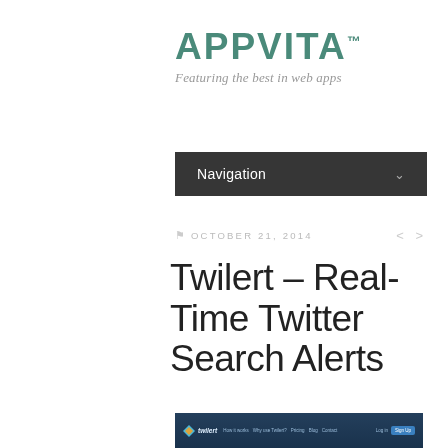APPVITA™
Featuring the best in web apps
Navigation
OCTOBER 21, 2014
Twilert – Real-Time Twitter Search Alerts
[Figure (screenshot): Screenshot of the Twilert website header showing logo, navigation links (How it works, Why use Twilert?, Pricing, Blog, Contact), Login and Sign Up buttons on a dark blue background.]